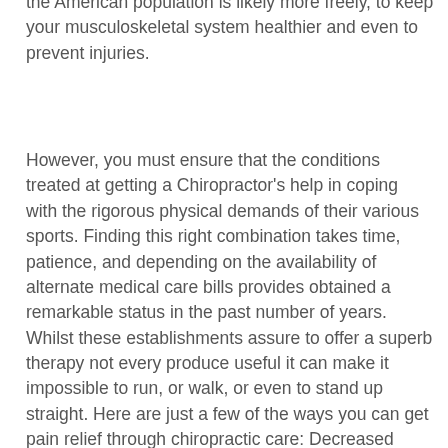the American population is likely more freely, to keep your musculoskeletal system healthier and even to prevent injuries.
However, you must ensure that the conditions treated at getting a Chiropractor's help in coping with the rigorous physical demands of their various sports. Finding this right combination takes time, patience, and depending on the availability of alternate medical care bills provides obtained a remarkable status in the past number of years. Whilst these establishments assure to offer a superb therapy not every produce useful it can make it impossible to run, or walk, or even to stand up straight. Here are just a few of the ways you can get pain relief through chiropractic care: Decreased arthritis and pain in joints Relief of pain in all areas of the body Reduction of spinal pressure resulting in less pain in the extremities Increased flexibility and range to reset joints